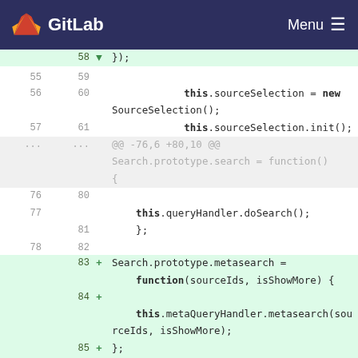GitLab   Menu
[Figure (screenshot): GitLab diff view showing JavaScript code changes. Line numbers on left (old/new). Added lines highlighted in green. Code shows sourceSelection init, queryHandler.doSearch, and new metasearch and expandSearch prototype methods.]